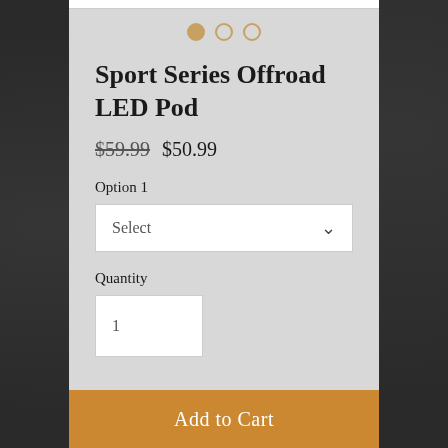[Figure (screenshot): Pagination dots: one filled orange dot and two empty circle dots]
Sport Series Offroad LED Pod
$59.99 $50.99
Option 1
Select
Quantity
1
Add to Cart